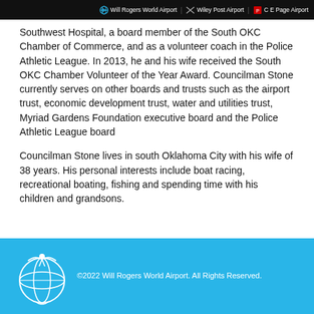Will Rogers World Airport | Wiley Post Airport | C E Page Airport
Southwest Hospital, a board member of the South OKC Chamber of Commerce, and as a volunteer coach in the Police Athletic League. In 2013, he and his wife received the South OKC Chamber Volunteer of the Year Award. Councilman Stone currently serves on other boards and trusts such as the airport trust, economic development trust, water and utilities trust, Myriad Gardens Foundation executive board and the Police Athletic League board
Councilman Stone lives in south Oklahoma City with his wife of 38 years. His personal interests include boat racing, recreational boating, fishing and spending time with his children and grandsons.
©2022 Will Rogers World Airport. All Rights Reserved.